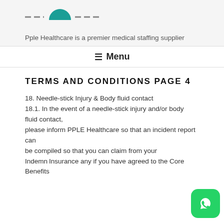[Figure (logo): Pple Healthcare logo with teal arch icon and decorative dashes]
Pple Healthcare is a premier medical staffing supplier
☰ Menu
TERMS AND CONDITIONS PAGE 4
18. Needle-stick Injury & Body fluid contact
18.1. In the event of a needle-stick injury and/or body fluid contact,
please inform PPLE Healthcare so that an incident report can
be compiled so that you can claim from your Indemnity Insurance any if you have agreed to the Core Benefits